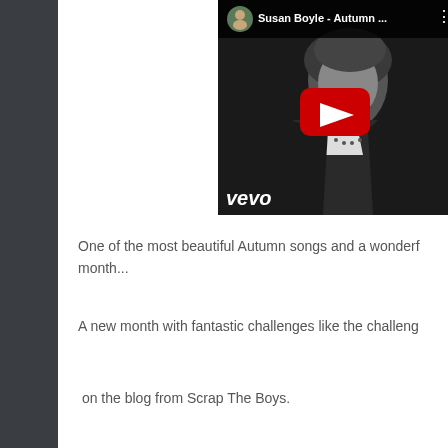[Figure (screenshot): YouTube video embed showing Susan Boyle - Autumn ... with vevo watermark. Black and white thumbnail of Susan Boyle with YouTube red play button overlay. Profile avatar and title bar at top.]
One of the most beautiful Autumn songs and a wonderf... month...
A new month with fantastic challenges like the challeng...
on the blog from Scrap The Boys.